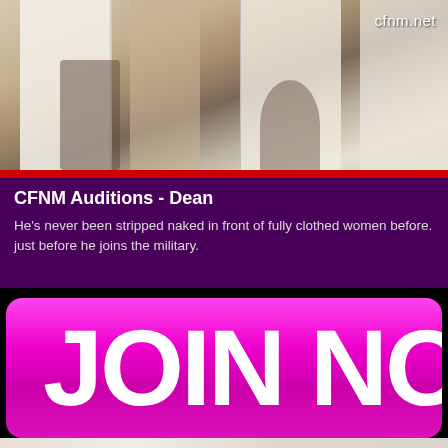[Figure (photo): Partial view of people in clothing, showing torsos and legs, with a watermark 'cfnm.net' in the upper right corner]
CFNM Auditions - Dean
He's never been stripped naked in front of fully clothed women before. just before he joins the military.
[Figure (other): Large magenta/pink JOIN NOW button with white bold text, partially cropped on the right]
[Figure (photo): Party scene with people holding balloons and a Happy Birthday banner, with names written on a board: BETTY, REBECC, CHARLO, JIM]